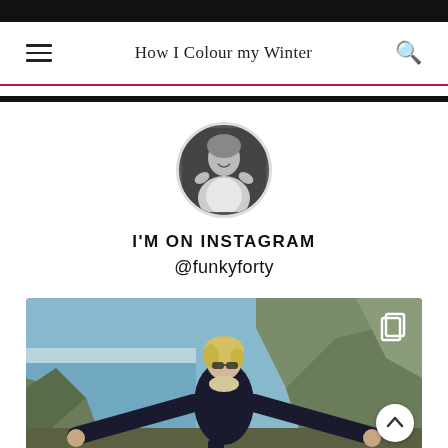How I Colour my Winter
[Figure (photo): Circular black and white profile photo of a smiling person with hands raised near their head]
I'M ON INSTAGRAM
@funkyforty
[Figure (photo): Color photo of a blonde woman in a dark jacket with arms spread wide, standing outdoors near cliffs and the sea on a sunny day]